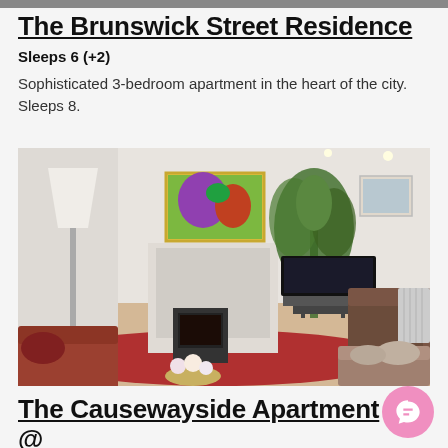[Figure (photo): Thin horizontal strip image at very top of page (partially cut off)]
The Brunswick Street Residence
Sleeps 6 (+2)
Sophisticated 3-bedroom apartment in the heart of the city. Sleeps 8.
[Figure (photo): Interior living room photo showing a bright apartment with brown leather sofa, red rug, flat screen TV, decorative plant, colorful painting on wall, and floor lamp.]
The Causewayside Apartment @ Newington